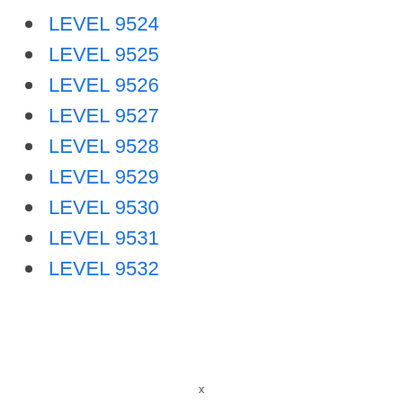LEVEL 9524
LEVEL 9525
LEVEL 9526
LEVEL 9527
LEVEL 9528
LEVEL 9529
LEVEL 9530
LEVEL 9531
LEVEL 9532
x